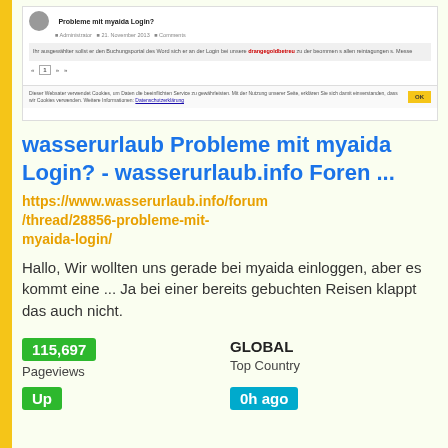[Figure (screenshot): Screenshot of a forum thread page titled 'Probleme mit myaida Login?' with a cookie consent bar at the bottom showing an OK button]
wasserurlaub Probleme mit myaida Login? - wasserurlaub.info Foren ...
https://www.wasserurlaub.info/forum/thread/28856-probleme-mit-myaida-login/
Hallo, Wir wollten uns gerade bei myaida einloggen, aber es kommt eine ... Ja bei einer bereits gebuchten Reisen klappt das auch nicht.
115,697
Pageviews
GLOBAL
Top Country
Up
0h ago